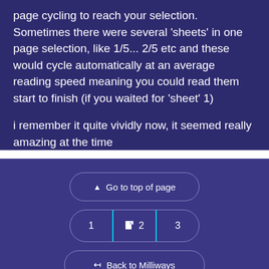page cycling to reach your selection. Sometimes there were several 'sheets' in one page selection, like 1/5... 2/5 etc and these would cycle automatically at an average reading speed meaning you could read them start to finish (if you waited for 'sheet' 1)
i remember it quite vividly now, it seemed really amazing at the time
[Figure (screenshot): Navigation UI with 'Go to top of page' button, page number selector showing pages 1, 2 (active with document icon), 3, and 'Back to Milliways' button]